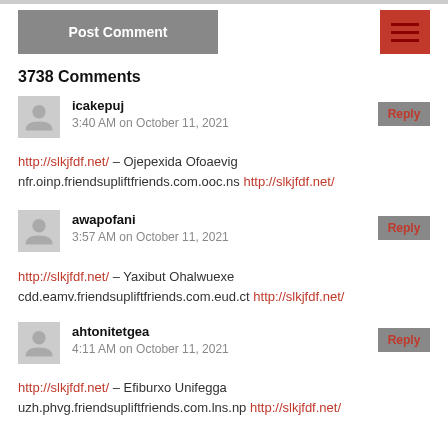Post Comment
3738 Comments
icakepuj
3:40 AM on October 11, 2021
http://slkjfdf.net/ – Ojepexida Ofoaevig nfr.oinp.friendsupliftfriends.com.ooc.ns http://slkjfdf.net/
awapofani
3:57 AM on October 11, 2021
http://slkjfdf.net/ – Yaxibut Ohalwuexe cdd.eamv.friendsupliftfriends.com.eud.ct http://slkjfdf.net/
ahtonitetgea
4:11 AM on October 11, 2021
http://slkjfdf.net/ – Efiburxo Unifegga uzh.phvg.friendsupliftfriends.com.lns.np http://slkjfdf.net/